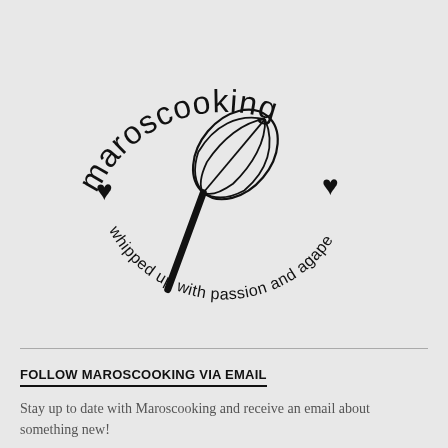[Figure (logo): Maroscooking logo: circular design with 'maroscooking' text arced along the top, two heart symbols on either side, a whisk illustration in the center, and 'whipped up with passion and agape' text arced along the bottom]
FOLLOW MAROSCOOKING VIA EMAIL
Stay up to date with Maroscooking and receive an email about something new!